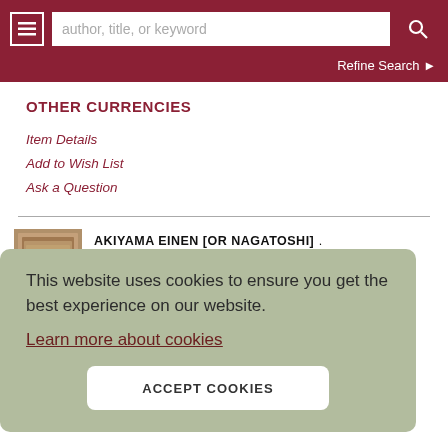author, title, or keyword | Refine Search
OTHER CURRENCIES
Item Details
Add to Wish List
Ask a Question
AKIYAMA EINEN [OR NAGATOSHI]
Is
int]. f the uji can be viewed. 159 x 170cm. Folds into paper
[Figure (photo): Thumbnail image of a book or scroll item]
This website uses cookies to ensure you get the best experience on our website.
Learn more about cookies
ACCEPT COOKIES